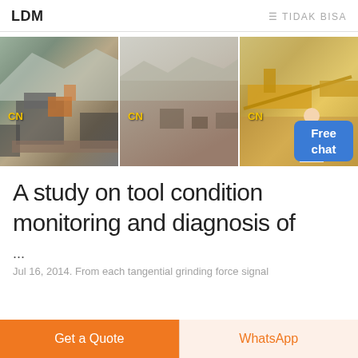LDM   ≡ TIDAK BISA
[Figure (photo): Three side-by-side photos of quarry/mining/crushing equipment operations with CN watermarks]
A study on tool condition monitoring and diagnosis of
...
Jul 16, 2014. From each tangential grinding force signal